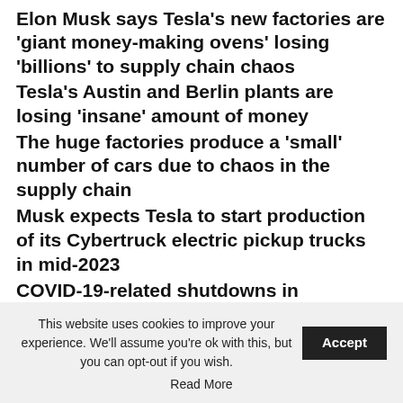Elon Musk says Tesla's new factories are 'giant money-making ovens' losing 'billions' to supply chain chaos
Tesla's Austin and Berlin plants are losing 'insane' amount of money
The huge factories produce a 'small' number of cars due to chaos in the supply chain
Musk expects Tesla to start production of its Cybertruck electric pickup trucks in mid-2023
COVID-19-related shutdowns in Shanghai 'were very, very difficult,' Musk said
By Christopher Carbone for Dailymail.Com
This website uses cookies to improve your experience. We'll assume you're ok with this, but you can opt-out if you wish. Accept Read More